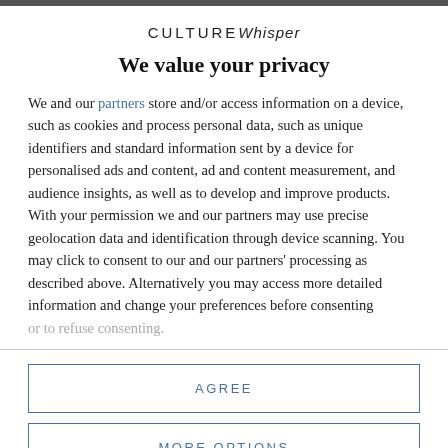CULTUREWhisper
We value your privacy
We and our partners store and/or access information on a device, such as cookies and process personal data, such as unique identifiers and standard information sent by a device for personalised ads and content, ad and content measurement, and audience insights, as well as to develop and improve products. With your permission we and our partners may use precise geolocation data and identification through device scanning. You may click to consent to our and our partners' processing as described above. Alternatively you may access more detailed information and change your preferences before consenting or to refuse consenting.
AGREE
MORE OPTIONS
and can be found at cots and accommodations.